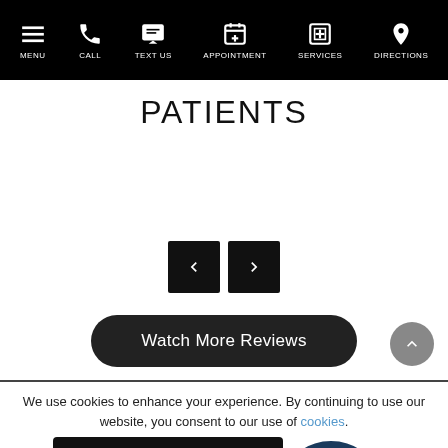MENU | CALL | TEXT US | APPOINTMENT | SERVICES | DIRECTIONS
PATIENTS
[Figure (screenshot): Carousel navigation with left and right arrow buttons]
Watch More Reviews
[Figure (other): Scroll to top circular button with upward chevron]
We use cookies to enhance your experience. By continuing to use our website, you consent to our use of cookies.
Got It
[Figure (illustration): Chat with us! speech bubble logo in dark blue and yellow]